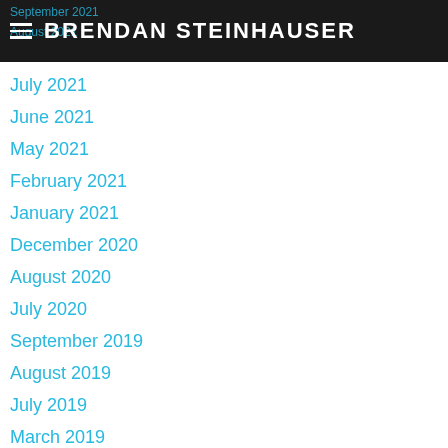BRENDAN STEINHAUSER
September 2021
August 2021
July 2021
June 2021
May 2021
February 2021
January 2021
December 2020
August 2020
July 2020
September 2019
August 2019
July 2019
March 2019
February 2019
January 2019
November 2018
August 2018
July 2018